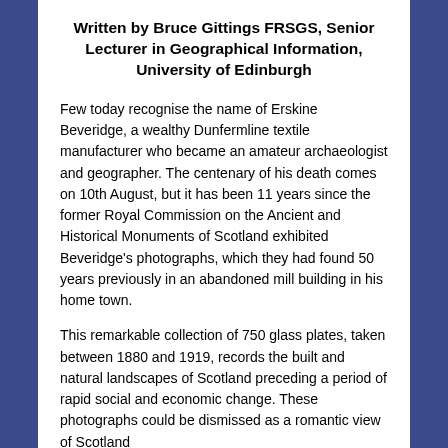Written by Bruce Gittings FRSGS, Senior Lecturer in Geographical Information, University of Edinburgh
Few today recognise the name of Erskine Beveridge, a wealthy Dunfermline textile manufacturer who became an amateur archaeologist and geographer. The centenary of his death comes on 10th August, but it has been 11 years since the former Royal Commission on the Ancient and Historical Monuments of Scotland exhibited Beveridge’s photographs, which they had found 50 years previously in an abandoned mill building in his home town.
This remarkable collection of 750 glass plates, taken between 1880 and 1919, records the built and natural landscapes of Scotland preceding a period of rapid social and economic change. These photographs could be dismissed as a romantic view of Scotland